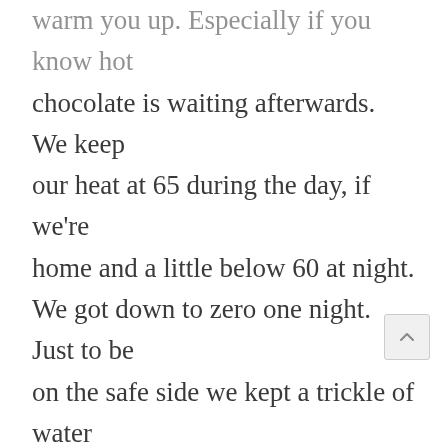warm you up. Especially if you know hot chocolate is waiting afterwards. We keep our heat at 65 during the day, if we're home and a little below 60 at night. We got down to zero one night. Just to be on the safe side we kept a trickle of water going in our kitchen (the only wall with pipes on an outside wall) and left the cupboards under the sink open, so heat could filter in. Frozen pipes are not inexpensive. However, we were fine. I repaired a pair of PJ pants for my DH.